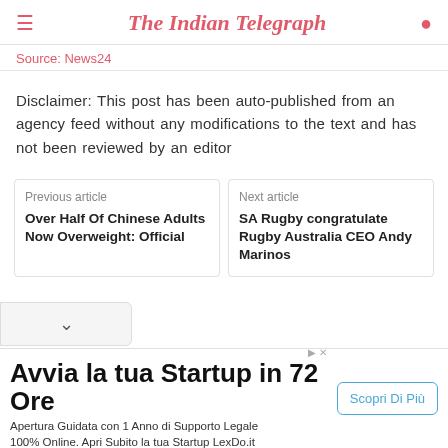The Indian Telegraph
Source: News24
Disclaimer: This post has been auto-published from an agency feed without any modifications to the text and has not been reviewed by an editor
Previous article
Over Half Of Chinese Adults Now Overweight: Official
Next article
SA Rugby congratulate Rugby Australia CEO Andy Marinos
Avvia la tua Startup in 72 Ore
Apertura Guidata con 1 Anno di Supporto Legale 100% Online. Apri Subito la tua Startup LexDo.it